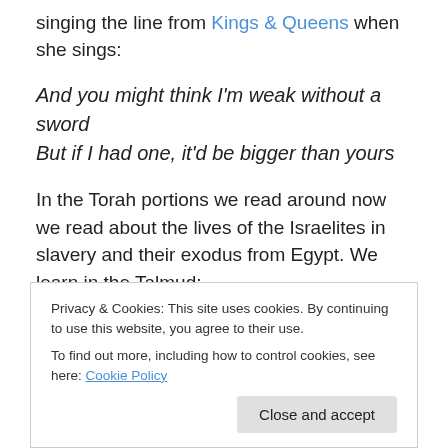singing the line from Kings & Queens when she sings:
And you might think I'm weak without a sword
But if I had one, it'd be bigger than yours
In the Torah portions we read around now we read about the lives of the Israelites in slavery and their exodus from Egypt. We learn in the Talmud:
In the merit of the righteous women who were in that generation, [the children of] Israel were redeemed from Egypt. (Sotah 11b)
Privacy & Cookies: This site uses cookies. By continuing to use this website, you agree to their use.
To find out more, including how to control cookies, see here: Cookie Policy